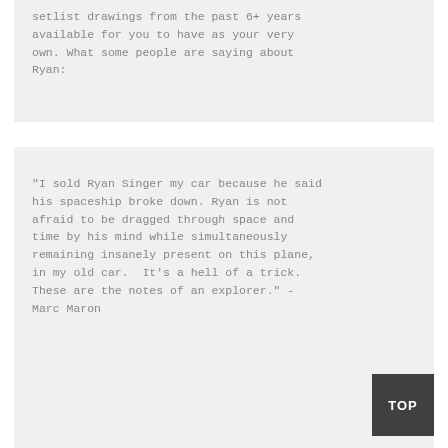setlist drawings from the past 6+ years available for you to have as your very own. What some people are saying about Ryan:
"I sold Ryan Singer my car because he said his spaceship broke down. Ryan is not afraid to be dragged through space and time by his mind while simultaneously remaining insanely present on this plane, in my old car.  It’s a hell of a trick. These are the notes of an explorer." - Marc Maron